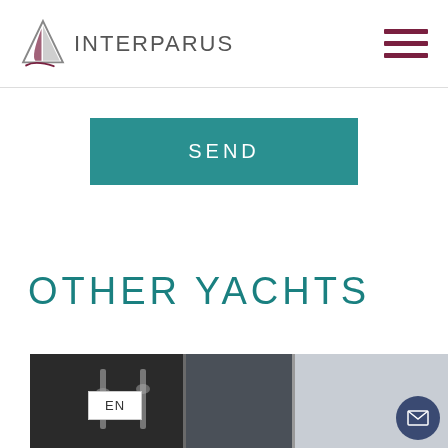INTERPARUS
SEND
OTHER YACHTS
[Figure (photo): Yacht interior/exterior photo strip showing dark boat fixtures and light hull]
EN